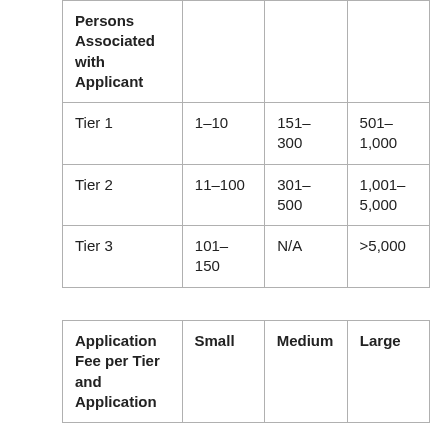| Persons Associated with Applicant | Small | Medium | Large |
| --- | --- | --- | --- |
| Tier 1 | 1–10 | 151–300 | 501–1,000 |
| Tier 2 | 11–100 | 301–500 | 1,001–5,000 |
| Tier 3 | 101–150 | N/A | >5,000 |
| Application Fee per Tier and Application… | Small | Medium | Large |
| --- | --- | --- | --- |